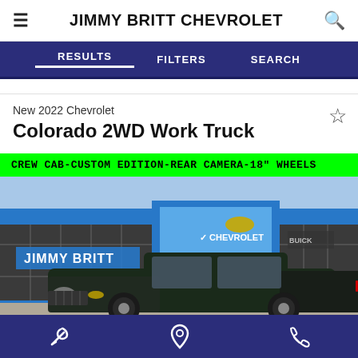JIMMY BRITT CHEVROLET
RESULTS   FILTERS   SEARCH
New 2022 Chevrolet
Colorado 2WD Work Truck
CREW CAB-CUSTOM EDITION-REAR CAMERA-18" WHEELS
[Figure (photo): Photo of a dark-colored 2022 Chevrolet Colorado truck parked in front of the Jimmy Britt Chevrolet dealership building with blue and silver facade.]
Wrench icon, Location pin icon, Phone icon